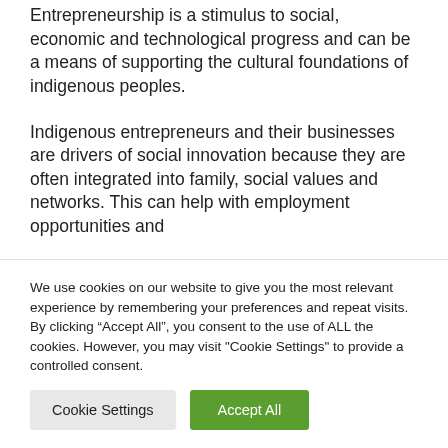Entrepreneurship is a stimulus to social, economic and technological progress and can be a means of supporting the cultural foundations of indigenous peoples.
Indigenous entrepreneurs and their businesses are drivers of social innovation because they are often integrated into family, social values and networks. This can help with employment opportunities and
We use cookies on our website to give you the most relevant experience by remembering your preferences and repeat visits. By clicking “Accept All”, you consent to the use of ALL the cookies. However, you may visit "Cookie Settings" to provide a controlled consent.